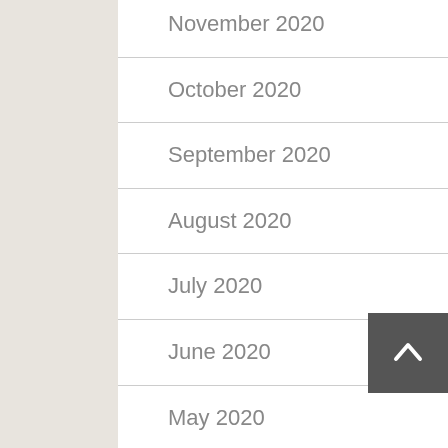November 2020
October 2020
September 2020
August 2020
July 2020
June 2020
May 2020
April 2020
March 2020
February 2020
January 2020
December 2019